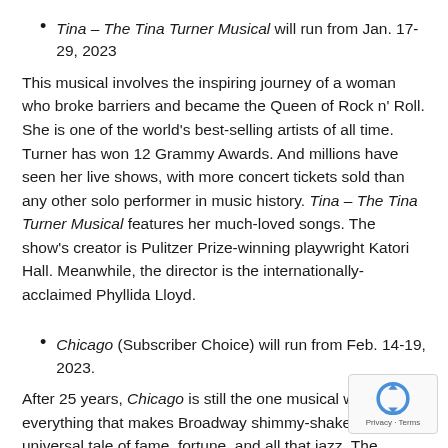Tina – The Tina Turner Musical will run from Jan. 17-29, 2023
This musical involves the inspiring journey of a woman who broke barriers and became the Queen of Rock n' Roll. She is one of the world's best-selling artists of all time. Turner has won 12 Grammy Awards. And millions have seen her live shows, with more concert tickets sold than any other solo performer in music history. Tina – The Tina Turner Musical features her much-loved songs. The show's creator is Pulitzer Prize-winning playwright Katori Hall. Meanwhile, the director is the internationally-acclaimed Phyllida Lloyd.
Chicago (Subscriber Choice) will run from Feb. 14-19, 2023.
After 25 years, Chicago is still the one musical with everything that makes Broadway shimmy-shake: a universal tale of fame, fortune, and all that jazz. The musical features one show-stopping song after another and astonishing dancing. The show has won Awards, two Olivier Awards, and a Grammy.